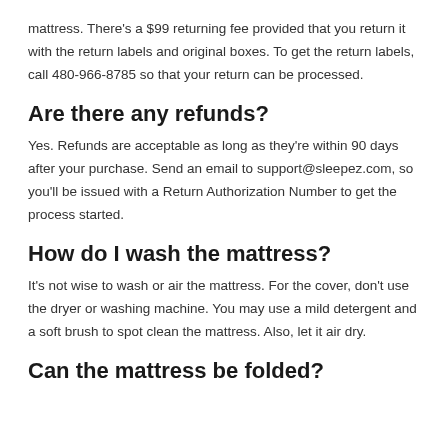mattress. There's a $99 returning fee provided that you return it with the return labels and original boxes. To get the return labels, call 480-966-8785 so that your return can be processed.
Are there any refunds?
Yes. Refunds are acceptable as long as they're within 90 days after your purchase. Send an email to support@sleepez.com, so you'll be issued with a Return Authorization Number to get the process started.
How do I wash the mattress?
It's not wise to wash or air the mattress. For the cover, don't use the dryer or washing machine. You may use a mild detergent and a soft brush to spot clean the mattress. Also, let it air dry.
Can the mattress be folded?